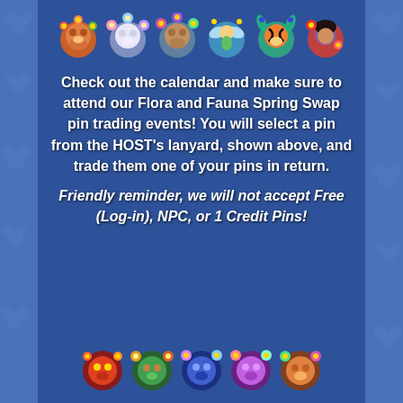[Figure (illustration): Row of Disney character pins with floral spring themes at the top]
Check out the calendar and make sure to attend our Flora and Fauna Spring Swap pin trading events! You will select a pin from the HOST's lanyard, shown above, and trade them one of your pins in return.
Friendly reminder, we will not accept Free (Log-in), NPC, or 1 Credit Pins!
[Figure (illustration): Row of Disney character pins with colorful nature themes at the bottom]